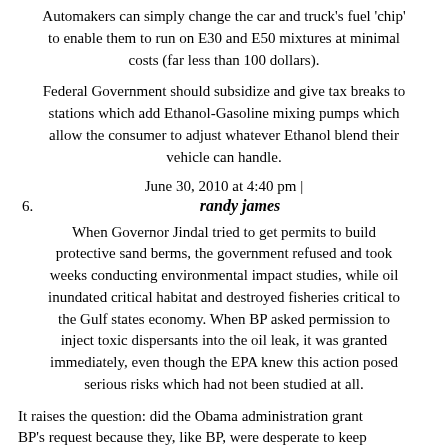Automakers can simply change the car and truck's fuel 'chip' to enable them to run on E30 and E50 mixtures at minimal costs (far less than 100 dollars).
Federal Government should subsidize and give tax breaks to stations which add Ethanol-Gasoline mixing pumps which allow the consumer to adjust whatever Ethanol blend their vehicle can handle.
June 30, 2010 at 4:40 pm |
6.   randy james
When Governor Jindal tried to get permits to build protective sand berms, the government refused and took weeks conducting environmental impact studies, while oil inundated critical habitat and destroyed fisheries critical to the Gulf states economy. When BP asked permission to inject toxic dispersants into the oil leak, it was granted immediately, even though the EPA knew this action posed serious risks which had not been studied at all.
It raises the question: did the Obama administration grant BP's request because they, like BP, were desperate to keep the size of this disaster out of the view of the public? If the consequences of this decision turn out to be the long-term destruction of critical fisheries and damages to the ecology of